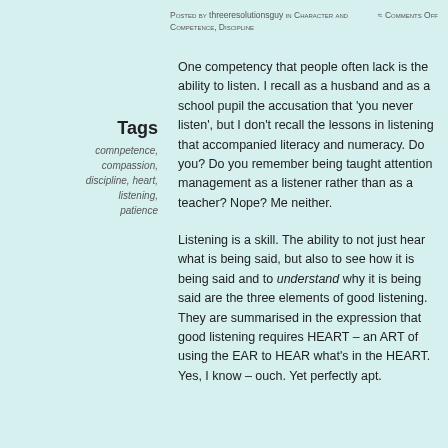Posted by threeresolutionsguy in Character and Competence, Discipline  ≈ Comments Off
Tags
comnpetence, compassion, discipline, heart, listening, patience
One competency that people often lack is the ability to listen. I recall as a husband and as a school pupil the accusation that 'you never listen', but I don't recall the lessons in listening that accompanied literacy and numeracy. Do you? Do you remember being taught attention management as a listener rather than as a teacher? Nope? Me neither.
Listening is a skill. The ability to not just hear what is being said, but also to see how it is being said and to understand why it is being said are the three elements of good listening. They are summarised in the expression that good listening requires HEART – an ART of using the EAR to HEAR what's in the HEART. Yes, I know – ouch. Yet perfectly apt.